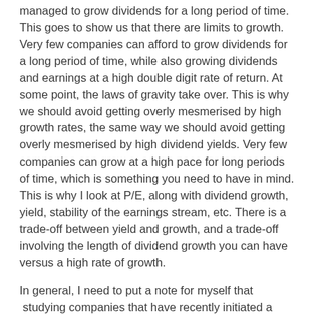managed to grow dividends for a long period of time. This goes to show us that there are limits to growth. Very few companies can afford to grow dividends for a long period of time, while also growing dividends and earnings at a high double digit rate of return. At some point, the laws of gravity take over. This is why we should avoid getting overly mesmerised by high growth rates, the same way we should avoid getting overly mesmerised by high dividend yields. Very few companies can grow at a high pace for long periods of time, which is something you need to have in mind. This is why I look at P/E, along with dividend growth, yield, stability of the earnings stream, etc. There is a trade-off between yield and growth, and a trade-off involving the length of dividend growth you can have versus a high rate of growth.
In general, I need to put a note for myself that  studying companies that have recently initiated a dividend, and then shown a commitment to growing it may be lucrative down the road. While this exercise may be prone to noise, it would have helped the investor identify companies like Tractor Supply (TSCO), CBOE,  Visa (V), Broadcom (AVGO), MarketAxess Holdings (MKTX), UnitedHealth Group (UNH).